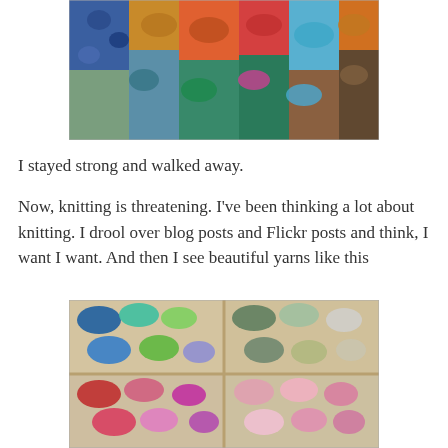[Figure (photo): Colorful beads and craft materials displayed at a market stall, showing various colors including blue, orange, teal, red, and multicolored items arranged in rows.]
I stayed strong and walked away.
Now, knitting is threatening. I've been thinking a lot about knitting. I drool over blog posts and Flickr posts and think, I want I want. And then I see beautiful yarns like this
[Figure (photo): Colorful yarn skeins organized in wooden shelf compartments, showing a rainbow of colors including blues, greens, yellows, oranges, reds, pinks, and earth tones arranged in a grid of compartments.]